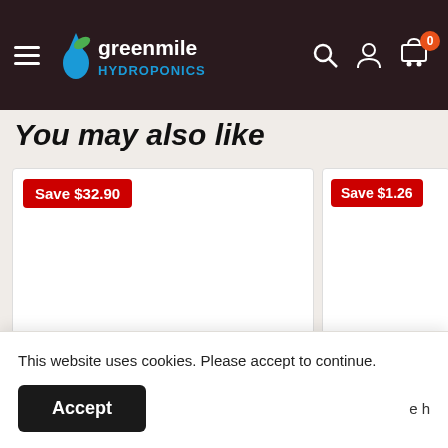Greenmile Hydroponics - navigation bar with logo, search, account, and cart icons
You may also like
Save $32.90
Save $1.26
$295.10  $328.00
$11.32  $12.58
This website uses cookies. Please accept to continue.
Accept